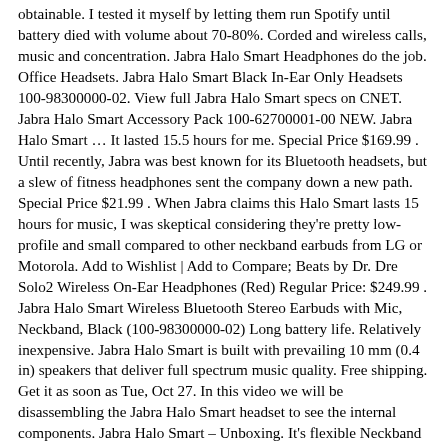obtainable. I tested it myself by letting them run Spotify until battery died with volume about 70-80%. Corded and wireless calls, music and concentration. Jabra Halo Smart Headphones do the job. Office Headsets. Jabra Halo Smart Black In-Ear Only Headsets 100-98300000-02. View full Jabra Halo Smart specs on CNET. Jabra Halo Smart Accessory Pack 100-62700001-00 NEW. Jabra Halo Smart … It lasted 15.5 hours for me. Special Price $169.99 . Until recently, Jabra was best known for its Bluetooth headsets, but a slew of fitness headphones sent the company down a new path. Special Price $21.99 . When Jabra claims this Halo Smart lasts 15 hours for music, I was skeptical considering they're pretty low-profile and small compared to other neckband earbuds from LG or Motorola. Add to Wishlist | Add to Compare; Beats by Dr. Dre Solo2 Wireless On-Ear Headphones (Red) Regular Price: $249.99 . Jabra Halo Smart Wireless Bluetooth Stereo Earbuds with Mic, Neckband, Black (100-98300000-02) Long battery life. Relatively inexpensive. Jabra Halo Smart is built with prevailing 10 mm (0.4 in) speakers that deliver full spectrum music quality. Free shipping. Get it as soon as Tue, Oct 27. In this video we will be disassembling the Jabra Halo Smart headset to see the internal components. Jabra Halo Smart – Unboxing. It's flexible Neckband design and IP54 Rated water resistance provides all day comfort that can be used for workouts or wherever your day takes you. Learn more with 23 Questions and 110 Answers for Jabra - HALO SMART Bluetooth Headset - Silver And yes, it produces great sound. Jabra Halo Smart Wireless Bluetooth Headset, Black/Silver